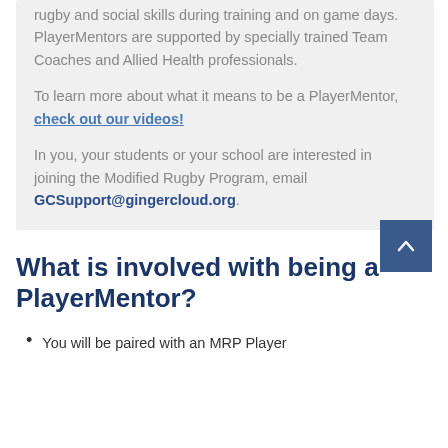rugby and social skills during training and on game days. PlayerMentors are supported by specially trained Team Coaches and Allied Health professionals.
To learn more about what it means to be a PlayerMentor, check out our videos!
In you, your students or your school are interested in joining the Modified Rugby Program, email GCSupport@gingercloud.org.
What is involved with being a PlayerMentor?
You will be paired with an MRP Player